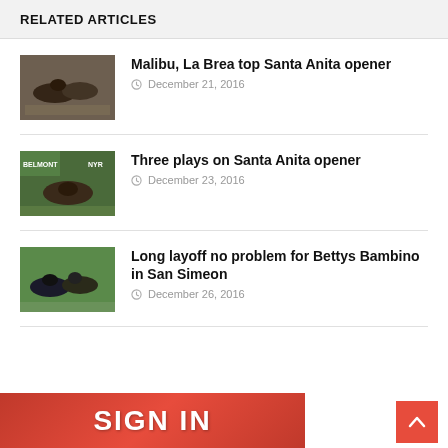RELATED ARTICLES
Malibu, La Brea top Santa Anita opener
December 21, 2016
Three plays on Santa Anita opener
December 23, 2016
Long layoff no problem for Bettys Bambino in San Simeon
December 26, 2016
SIGN IN